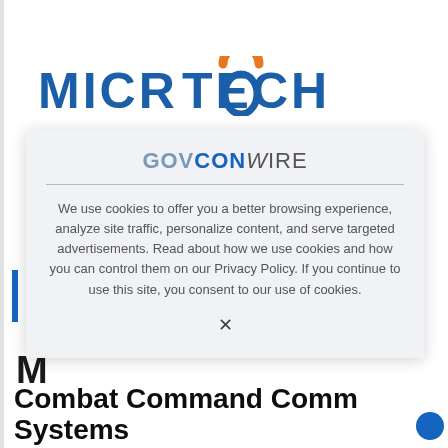[Figure (logo): MicroTech company logo with orange arc over blue text letters MICROTECH]
[Figure (logo): GovConWire logo in blue and gray italic text with horizontal rule underline]
We use cookies to offer you a better browsing experience, analyze site traffic, personalize content, and serve targeted advertisements. Read about how we use cookies and how you can control them on our Privacy Policy. If you continue to use this site, you consent to our use of cookies.
X
M
Combat Command Comm Systems